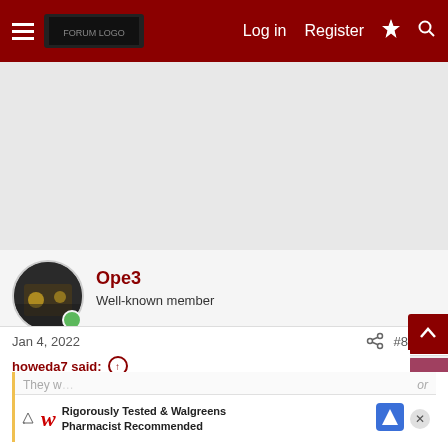Navigation bar with hamburger menu, logo, Log in, Register, lightning icon, search icon
[Figure (other): Gray advertisement placeholder area]
Ope3 — Well-known member
Jan 4, 2022  #8
howeda7 said:
They w... or... that's w... avated Indy is...
[Figure (other): Walgreens advertisement overlay: Rigorously Tested & Walgreens Pharmacist Recommended]